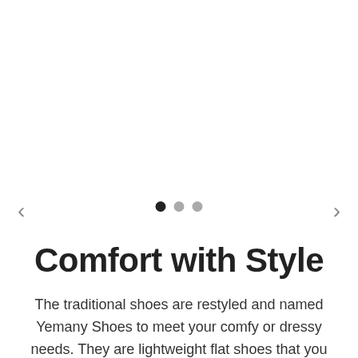[Figure (other): Slideshow image area (blank/white, image not visible). Navigation arrows on left and right. Three pagination dots below: first dot filled black (active), second and third dots grey (inactive).]
Comfort with Style
The traditional shoes are restyled and named Yemany Shoes to meet your comfy or dressy needs. They are lightweight flat shoes that you can